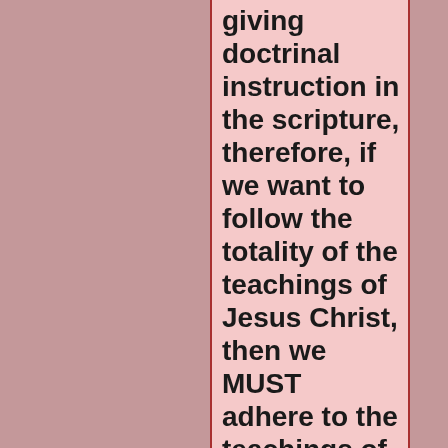giving doctrinal instruction in the scripture, therefore, if we want to follow the totality of the teachings of Jesus Christ, then we MUST adhere to the teachings of the ones who had exclusive contact